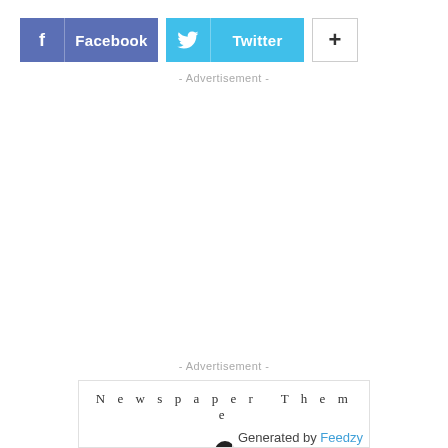[Figure (other): Social share buttons: Facebook (blue), Twitter (cyan), and a plus (+) button]
- Advertisement -
- Advertisement -
[Figure (screenshot): Newspaper Theme widget box with dots/circles at the bottom, and 'Generated by Feedzy' label in bottom right]